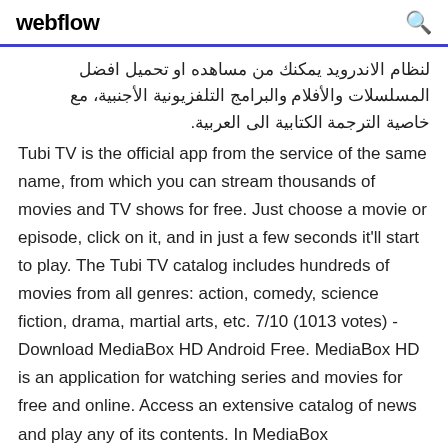webflow
لنظام الاندرويد يمكنك من مساهده او تحميل افضل المسلسلات والأفلام والبرامج التلفزيونية الأجنبية، مع خاصية الترجمة الكتابية الى العربية. Tubi TV is the official app from the service of the same name, from which you can stream thousands of movies and TV shows for free. Just choose a movie or episode, click on it, and in just a few seconds it'll start to play. The Tubi TV catalog includes hundreds of movies from all genres: action, comedy, science fiction, drama, martial arts, etc. 7/10 (1013 votes) - Download MediaBox HD Android Free. MediaBox HD is an application for watching series and movies for free and online. Access an extensive catalog of news and play any of its contents. In MediaBox